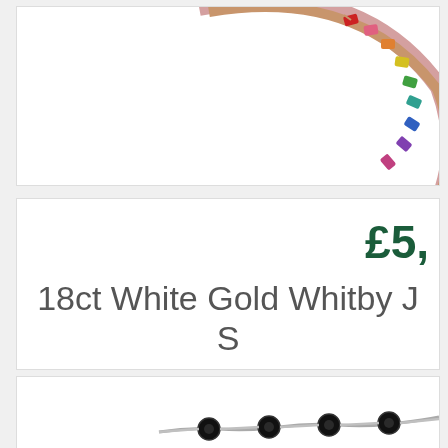[Figure (photo): Partial view of a rose gold rainbow gemstone bracelet/bangle with multi-colored stones, cropped at right side of card]
£5,
18ct White Gold Whitby J S